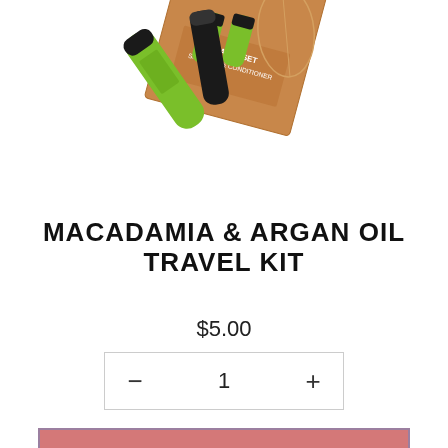[Figure (photo): Product photo showing two green hair care tubes with black caps and an orange/kraft paper box labeled 'TRAVEL SET SHAMPOO & CONDITIONER', arranged on a white background at a slight angle.]
MACADAMIA & ARGAN OIL TRAVEL KIT
$5.00
− 1 +
Add To Cart